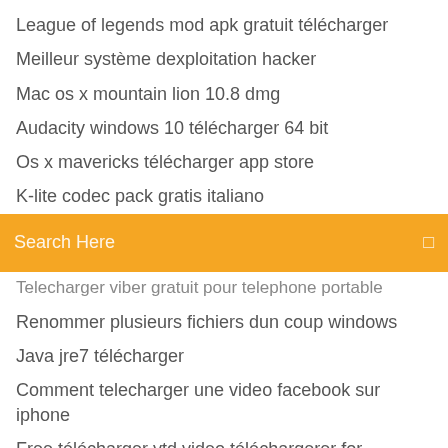League of legends mod apk gratuit télécharger
Meilleur système dexploitation hacker
Mac os x mountain lion 10.8 dmg
Audacity windows 10 télécharger 64 bit
Os x mavericks télécharger app store
K-lite codec pack gratis italiano
[Figure (screenshot): Orange search bar with text 'Search Here' and a small icon on the right]
Telecharger viber gratuit pour telephone portable
Renommer plusieurs fichiers dun coup windows
Java jre7 télécharger
Comment telecharger une video facebook sur iphone
Free télécharger ytd video téléchargerer for windows 7 32 bit
Comment installer facebook messenger sur android
Convertir jpg a png gratis
Winrar 32 bit gratuit télécharger complete version
Windows 10 télécharger 64 bit home
Code de triche gta 4 xbox 360 hulk